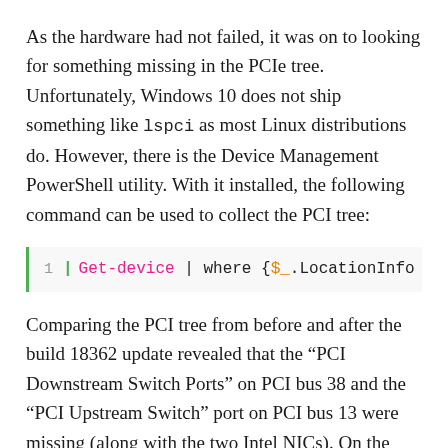As the hardware had not failed, it was on to looking for something missing in the PCIe tree. Unfortunately, Windows 10 does not ship something like lspci as most Linux distributions do. However, there is the Device Management PowerShell utility. With it installed, the following command can be used to collect the PCI tree:
1 | Get-device | where {$_.LocationInfo -
Comparing the PCI tree from before and after the build 18362 update revealed that the “PCI Downstream Switch Ports” on PCI bus 38 and the “PCI Upstream Switch” port on PCI bus 13 were missing (along with the two Intel NICs). On the ASRock X370